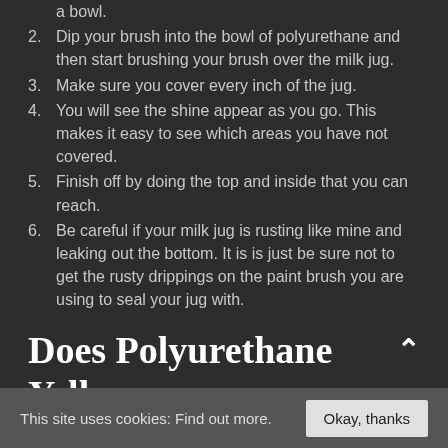a bowl.
2. Dip your brush into the bowl of polyurethane and then start brushing your brush over the milk jug.
3. Make sure you cover every inch of the jug.
4. You will see the shine appear as you go. This makes it easy to see which areas you have not covered.
5. Finish off by doing the top and inside that you can reach.
6. Be careful if your milk jug is rusting like mine and leaking out the bottom. It is is just be sure not to get the rusty drippings on the paint brush you are using to seal your jug with.
Does Polyurethane Yellow Your Craft?
This site uses cookies: Find out more.